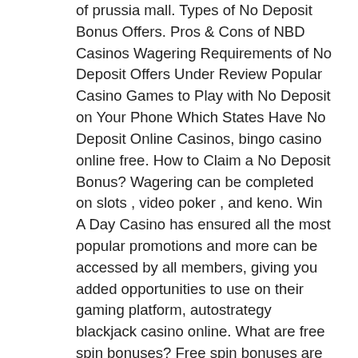of prussia mall. Types of No Deposit Bonus Offers. Pros & Cons of NBD Casinos Wagering Requirements of No Deposit Offers Under Review Popular Casino Games to Play with No Deposit on Your Phone Which States Have No Deposit Online Casinos, bingo casino online free. How to Claim a No Deposit Bonus? Wagering can be completed on slots , video poker , and keno. Win A Day Casino has ensured all the most popular promotions and more can be accessed by all members, giving you added opportunities to use on their gaming platform, autostrategy blackjack casino online. What are free spin bonuses? Free spin bonuses are a type of no deposit casino bonuses, free online poker games with bots no download. Banking options supported here include bank wire, MasterCard, Visa, Neteller, ecoPayz, Paysafecard, Overnight Express, and